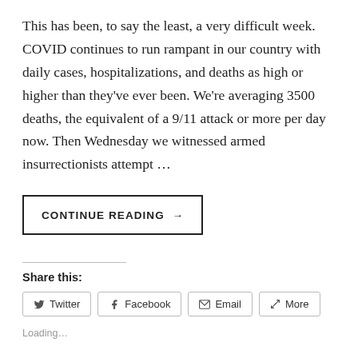This has been, to say the least, a very difficult week. COVID continues to run rampant in our country with daily cases, hospitalizations, and deaths as high or higher than they’ve ever been. We’re averaging 3500 deaths, the equivalent of a 9/11 attack or more per day now. Then Wednesday we witnessed armed insurrectionists attempt …
CONTINUE READING →
Share this:
Twitter Facebook Email More
Loading…